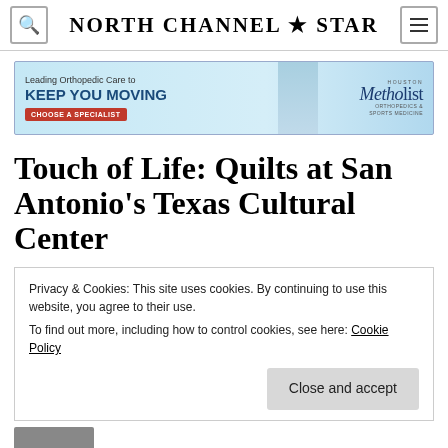North Channel ★ Star
[Figure (infographic): Advertisement banner for Houston Methodist Orthopedics & Sports Medicine. Text reads: 'Leading Orthopedic Care to KEEP YOU MOVING CHOOSE A SPECIALIST' with Methodist logo and image of a woman.]
Touch of Life: Quilts at San Antonio's Texas Cultural Center
Privacy & Cookies: This site uses cookies. By continuing to use this website, you agree to their use.
To find out more, including how to control cookies, see here: Cookie Policy
Close and accept
make our way to several of the